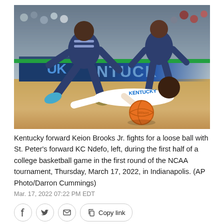[Figure (photo): Basketball game photo showing Kentucky forward Keion Brooks Jr. fighting for a loose ball on the floor with St. Peter's forward KC Ndefo jumping over him, during the first round of the NCAA tournament in Indianapolis. Orange Wilson basketball visible. Kentucky court with UK logo in background.]
Kentucky forward Keion Brooks Jr. fights for a loose ball with St. Peter's forward KC Ndefo, left, during the first half of a college basketball game in the first round of the NCAA tournament, Thursday, March 17, 2022, in Indianapolis. (AP Photo/Darron Cummings)
Mar. 17, 2022 07:22 PM EDT